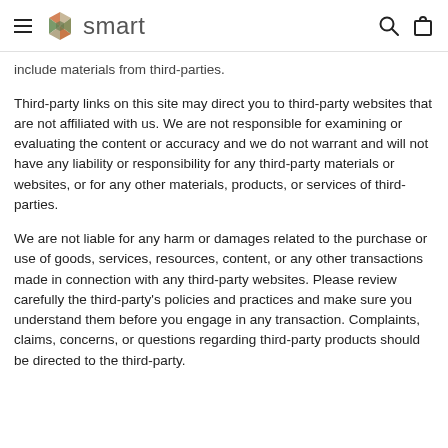smart (logo) | search | cart
include materials from third-parties.
Third-party links on this site may direct you to third-party websites that are not affiliated with us. We are not responsible for examining or evaluating the content or accuracy and we do not warrant and will not have any liability or responsibility for any third-party materials or websites, or for any other materials, products, or services of third-parties.
We are not liable for any harm or damages related to the purchase or use of goods, services, resources, content, or any other transactions made in connection with any third-party websites. Please review carefully the third-party's policies and practices and make sure you understand them before you engage in any transaction. Complaints, claims, concerns, or questions regarding third-party products should be directed to the third-party.